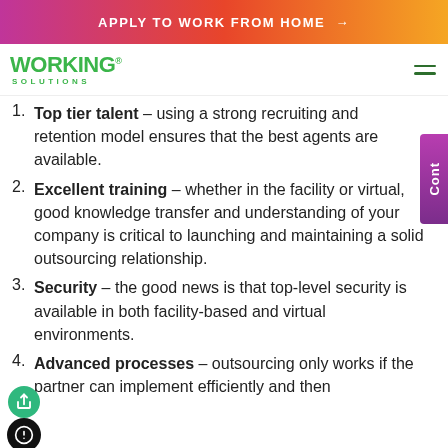APPLY TO WORK FROM HOME →
[Figure (logo): Working Solutions logo with green text and registered trademark symbol]
Top tier talent – using a strong recruiting and retention model ensures that the best agents are available.
Excellent training – whether in the facility or virtual, good knowledge transfer and understanding of your company is critical to launching and maintaining a solid outsourcing relationship.
Security – the good news is that top-level security is available in both facility-based and virtual environments.
Advanced processes – outsourcing only works if the partner can implement efficiently and then